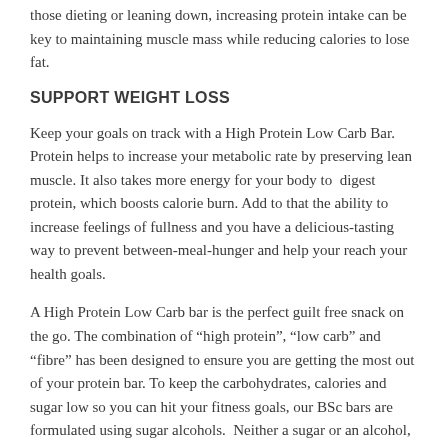those dieting or leaning down, increasing protein intake can be key to maintaining muscle mass while reducing calories to lose fat.
SUPPORT WEIGHT LOSS
Keep your goals on track with a High Protein Low Carb Bar. Protein helps to increase your metabolic rate by preserving lean muscle. It also takes more energy for your body to  digest protein, which boosts calorie burn. Add to that the ability to increase feelings of fullness and you have a delicious-tasting way to prevent between-meal-hunger and help your reach your health goals.
A High Protein Low Carb bar is the perfect guilt free snack on the go. The combination of “high protein”, “low carb” and “fibre” has been designed to ensure you are getting the most out of your protein bar. To keep the carbohydrates, calories and sugar low so you can hit your fitness goals, our BSc bars are formulated using sugar alcohols.  Neither a sugar or an alcohol, sugar alcohols behave more like fibres, leaving out the energy to metabol...